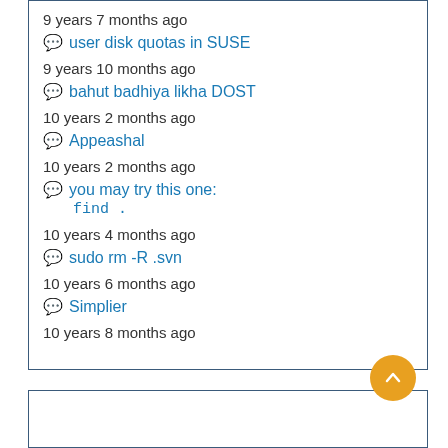9 years 7 months ago
user disk quotas in SUSE
9 years 10 months ago
bahut badhiya likha DOST
10 years 2 months ago
Appeashal
10 years 2 months ago
you may try this one:
find .
10 years 4 months ago
sudo rm -R .svn
10 years 6 months ago
Simplier
10 years 8 months ago